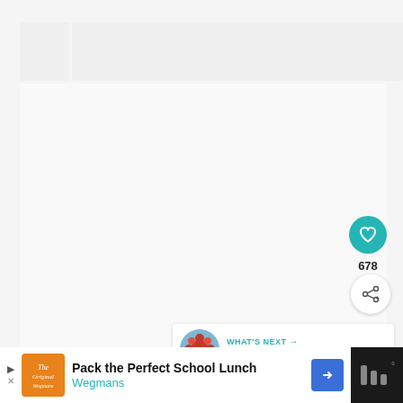[Figure (screenshot): Website screenshot showing a mostly blank/loading content area with UI elements: a teal heart/like button showing 678 likes, a share button, a 'What's Next' recommendation panel showing 'Alcohol Vodka Filled Gumm...' with a thumbnail, and an advertisement banner at the bottom for 'Pack the Perfect School Lunch' by Wegmans.]
678
WHAT'S NEXT →
Alcohol Vodka Filled Gumm...
Pack the Perfect School Lunch
Wegmans